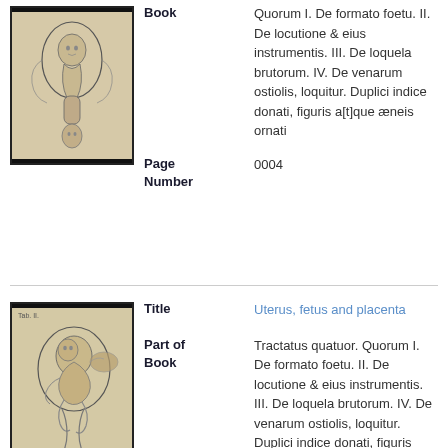[Figure (illustration): Anatomical illustration from historical medical book showing uterus and fetus, engraving style on aged paper]
Book
Quorum I. De formato foetu. II. De locutione & eius instrumentis. III. De loquela brutorum. IV. De venarum ostiolis, loquitur. Duplici indice donati, figuris a[t]que æneis ornati
Page Number
0004
[Figure (illustration): Anatomical illustration from historical medical book showing uterus, fetus and placenta, engraving style on aged paper]
Title
Uterus, fetus and placenta
Part of Book
Tractatus quatuor. Quorum I. De formato foetu. II. De locutione & eius instrumentis. III. De loquela brutorum. IV. De venarum ostiolis, loquitur. Duplici indice donati, figuris a[t]que æneis ornati